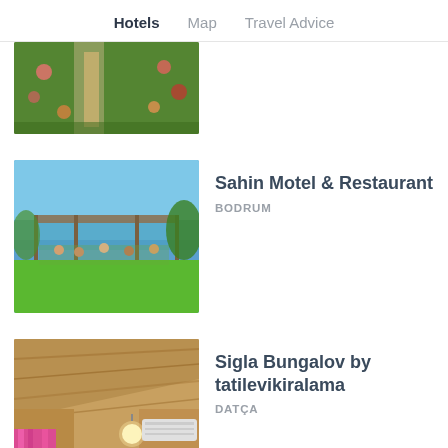Hotels  Map  Travel Advice
[Figure (photo): Aerial view of a garden with a stone pathway surrounded by green plants and colorful flowers]
[Figure (photo): Outdoor restaurant/patio area with green lawn, pergola structure, and sea view in background with people dining]
Sahin Motel & Restaurant
BODRUM
[Figure (photo): Interior of a wooden bungalow with vaulted ceiling, warm lighting, pink curtains, and air conditioning unit]
Sigla Bungalov by tatilevikiralama
DATÇA
[Figure (photo): Partial view of a hotel listing image at bottom of page]